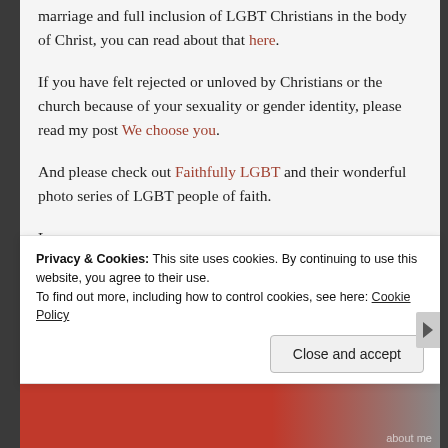marriage and full inclusion of LGBT Christians in the body of Christ, you can read about that here.
If you have felt rejected or unloved by Christians or the church because of your sexuality or gender identity, please read my post We choose you.
And please check out Faithfully LGBT and their wonderful photo series of LGBT people of faith.
Love,
Jessica
Sponsored Content
Privacy & Cookies: This site uses cookies. By continuing to use this website, you agree to their use.
To find out more, including how to control cookies, see here: Cookie Policy
Close and accept